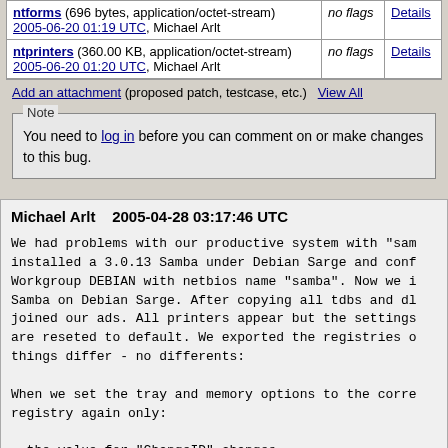| Attachment | Flags | Actions |
| --- | --- | --- |
| ntforms (696 bytes, application/octet-stream)
2005-06-20 01:19 UTC, Michael Arlt | no flags | Details |
| ntprinters (360.00 KB, application/octet-stream)
2005-06-20 01:20 UTC, Michael Arlt | no flags | Details |
Add an attachment (proposed patch, testcase, etc.)   View All
Note
You need to log in before you can comment on or make changes to this bug.
Michael Arlt    2005-04-28 03:17:46 UTC
We had problems with our productive system with "sam
installed a 3.0.13 Samba under Debian Sarge and conf
Workgroup DEBIAN with netbios name "samba". Now we i
Samba on Debian Sarge. After copying all tdbs and dl
joined our ads. All printers appear but the settings
are reseted to default. We exported the registries o
things differ - no differents:

When we set the tray and memory options to the corre
registry again only:

- the value for "ChangeID" changes
- sometimes the key "objectGUID" appears

Nothing else changes. The part of the registry which
tray-settings doesn't change.